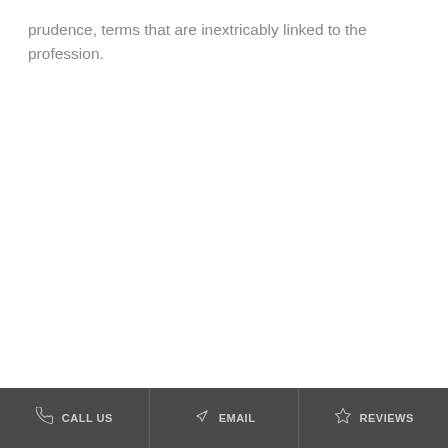prudence, terms that are inextricably linked to the profession.
CALL US   EMAIL   REVIEWS